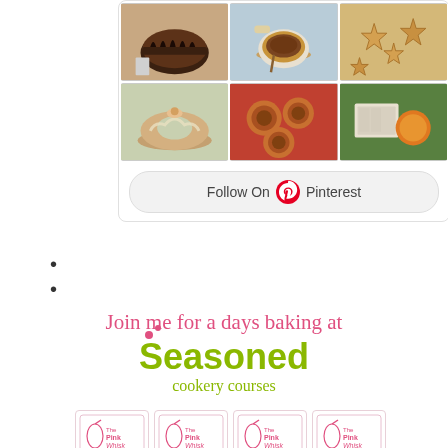[Figure (infographic): Pinterest widget showing a 2x3 grid of food photos (chocolate cake, hot cocoa, star cookies, glazed rolls, cinnamon buns, chocolates with oranges) and a 'Follow On Pinterest' button]
[Figure (logo): Seasoned Cookery Courses logo with text 'Join me for a days baking at Seasoned cookery courses' and pink handwritten heading above olive green logo text]
[Figure (infographic): Four The Pink Whisk logo badges in a row, followed by photos of a woman baking in an apron, children baking, and a round baked loaf]